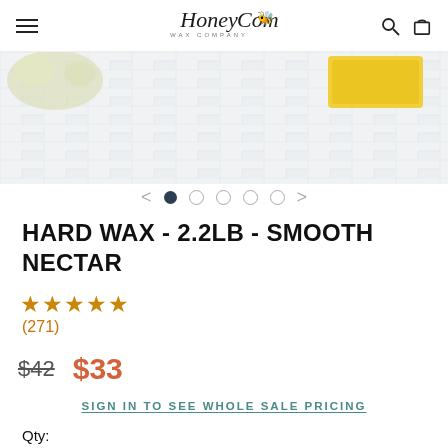Honeycomb Wax Company
[Figure (photo): Product photo showing yellow hard wax block on white brick surface with flowers in background]
HARD WAX - 2.2LB - SMOOTH NECTAR
★★★★★ (271)
$42  $33
SIGN IN TO SEE WHOLE SALE PRICING
Qty: